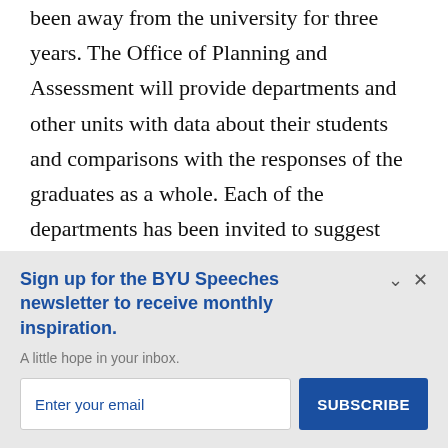been away from the university for three years. The Office of Planning and Assessment will provide departments and other units with data about their students and comparisons with the responses of the graduates as a whole. Each of the departments has been invited to suggest some specific questions they want to ask graduates based on their unit
Sign up for the BYU Speeches newsletter to receive monthly inspiration.
A little hope in your inbox.
Enter your email
SUBSCRIBE